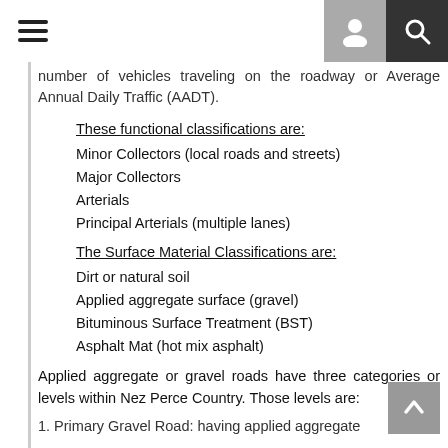[Navigation header with hamburger menu, user icon, and search icon]
number of vehicles traveling on the roadway or Average Annual Daily Traffic (AADT).
These functional classifications are:
Minor Collectors (local roads and streets)
Major Collectors
Arterials
Principal Arterials (multiple lanes)
The Surface Material Classifications are:
Dirt or natural soil
Applied aggregate surface (gravel)
Bituminous Surface Treatment (BST)
Asphalt Mat (hot mix asphalt)
Applied aggregate or gravel roads have three categories or levels within Nez Perce Country. Those levels are:
1. Primary Gravel Road: having applied aggregate...